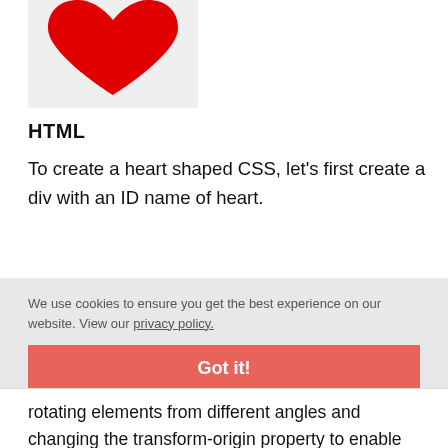[Figure (illustration): A red heart shape on a light gray background, partially cropped at the top of the page]
HTML
To create a heart shaped CSS, let's first create a div with an ID name of heart.
We use cookies to ensure you get the best experience on our website. View our privacy policy.
Got it!
rotating elements from different angles and changing the transform-origin property to enable changing the position of the transformed element.